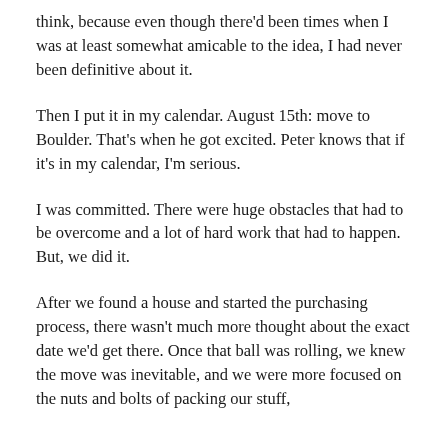think, because even though there'd been times when I was at least somewhat amicable to the idea, I had never been definitive about it.
Then I put it in my calendar. August 15th: move to Boulder. That's when he got excited. Peter knows that if it's in my calendar, I'm serious.
I was committed. There were huge obstacles that had to be overcome and a lot of hard work that had to happen. But, we did it.
After we found a house and started the purchasing process, there wasn't much more thought about the exact date we'd get there. Once that ball was rolling, we knew the move was inevitable, and we were more focused on the nuts and bolts of packing our stuff,